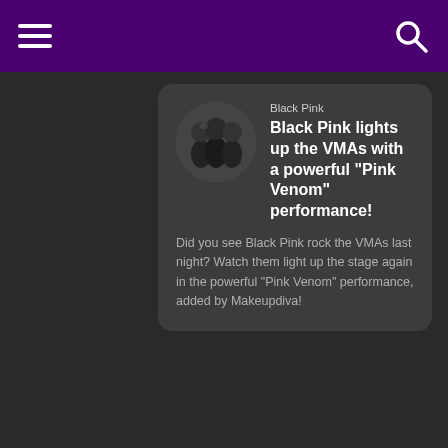Navigation bar with hamburger menu and search icon
Black Pink lights up the VMAs with a powerful "Pink Venom" performance!
Did you see Black Pink rock the VMAs last night? Watch them light up the stage again in the powerful "Pink Venom" performance, added by Makeupdiva!
[Figure (photo): A man in a floral shirt wearing sunglasses holds a colorful bouquet of flowers, facing a blonde woman in a dark outfit, outdoors in front of a teal/blue wall.]